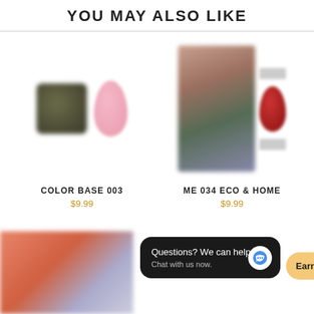YOU MAY ALSO LIKE
[Figure (photo): Product listing: COLOR BASE 003 nail gel with jar and pink nail swatch]
COLOR BASE 003
$9.99
[Figure (photo): Product listing: ME 034 ECO & HOME with model photo and red nail swatch]
ME 034 ECO & HOME
$9.99
[Figure (photo): Bottom section with person wearing white outfit on coral background]
Questions? We can help.
Chat with us now.
Earn & Spend